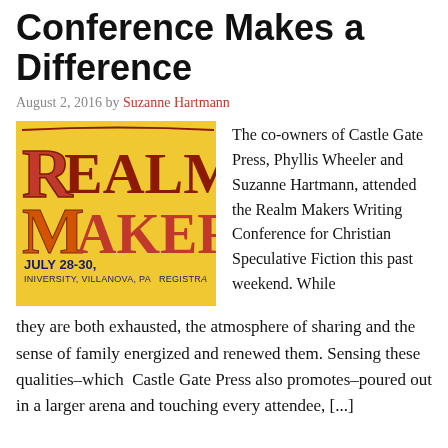The Ambiance of a Writing Conference Makes a Difference
August 2, 2016 by Suzanne Hartmann
[Figure (logo): Realm Makers conference logo on yellow background with stylized fantasy lettering, July 28-30, University, Villanova, PA]
The co-owners of Castle Gate Press, Phyllis Wheeler and Suzanne Hartmann, attended the Realm Makers Writing Conference for Christian Speculative Fiction this past weekend. While they are both exhausted, the atmosphere of sharing and the sense of family energized and renewed them. Sensing these qualities–which  Castle Gate Press also promotes–poured out in a larger arena and touching every attendee, [...]